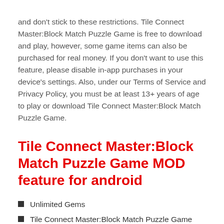and don't stick to these restrictions. Tile Connect Master:Block Match Puzzle Game is free to download and play, however, some game items can also be purchased for real money. If you don't want to use this feature, please disable in-app purchases in your device's settings. Also, under our Terms of Service and Privacy Policy, you must be at least 13+ years of age to play or download Tile Connect Master:Block Match Puzzle Game.
Tile Connect Master:Block Match Puzzle Game MOD feature for android
Unlimited Gems
Tile Connect Master:Block Match Puzzle Game